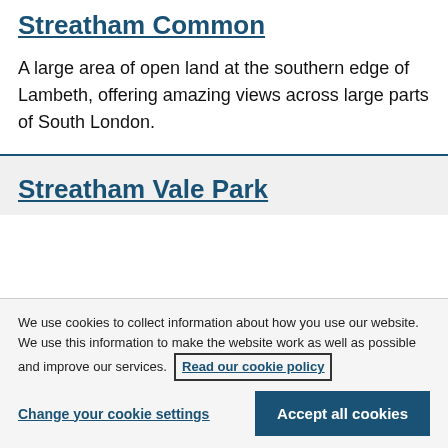Streatham Common
A large area of open land at the southern edge of Lambeth, offering amazing views across large parts of South London.
Streatham Vale Park
We use cookies to collect information about how you use our website. We use this information to make the website work as well as possible and improve our services. Read our cookie policy
Change your cookie settings
Accept all cookies